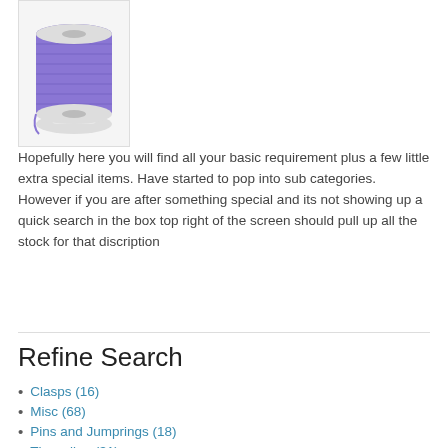[Figure (photo): A spool of purple/violet thread or cord on a white spool]
Hopefully here you will find all your basic requirement plus a few little extra special items. Have started to pop into sub categories. However if you are after something special and its not showing up a quick search in the box top right of the screen should pull up all the stock for that discription
Refine Search
Clasps (16)
Misc (68)
Pins and Jumprings (18)
Threading (31)
Product Compare (0)
Sort By: Default    Show: 20